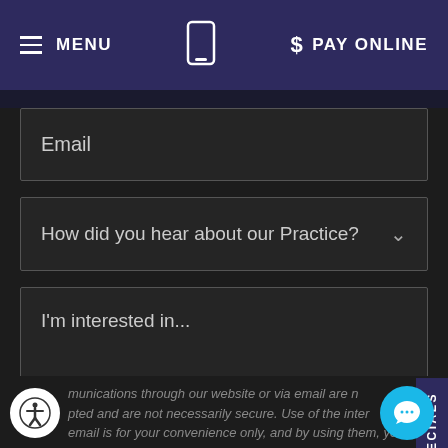≡ MENU  [phone icon]  $ PAY ONLINE
Email
How did you hear about our Practice?
I'm interested in...
SPECIALS
munications through our website or via email are n... pted and are not necessarily secure. Use of the inter... email is for your convenience only, and by using them, you